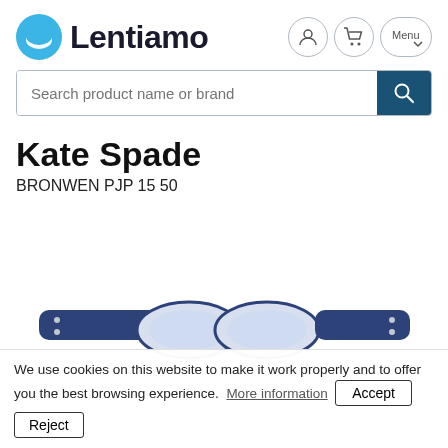[Figure (logo): Lentiamo logo with blue smiley face icon and nav icons for user, cart, and menu]
[Figure (screenshot): Search bar with placeholder text 'Search product name or brand' and dark blue search button]
Kate Spade
BRONWEN PJP 15 50
[Figure (photo): Partial image of Kate Spade navy blue eyeglasses, showing top portion of frames against white background]
We use cookies on this website to make it work properly and to offer you the best browsing experience.  More information   Accept  Reject